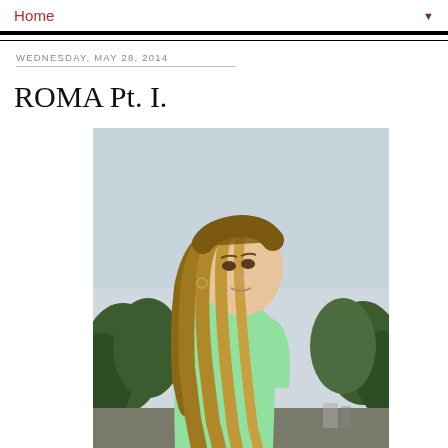Home ▼
WEDNESDAY, MAY 28, 2014
ROMA Pt. I.
[Figure (photo): A young woman with long blonde-brown ombre hair, wearing a sleeveless mint green top, photographed from behind/side angle, looking back over her shoulder. Background shows trees and an overcast sky.]